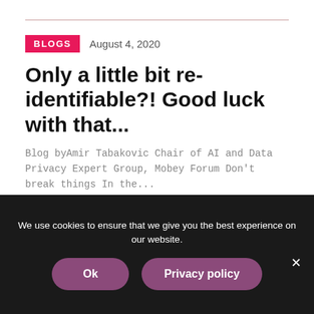BLOGS  August 4, 2020
Only a little bit re-identifiable?! Good luck with that...
Blog byAmir Tabakovic Chair of AI and Data Privacy Expert Group, Mobey Forum Don't break things In the...
Read more →
We use cookies to ensure that we give you the best experience on our website.
Ok   Privacy policy